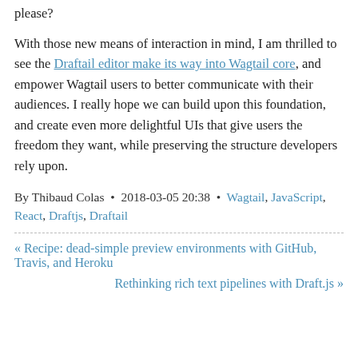please?
With those new means of interaction in mind, I am thrilled to see the Draftail editor make its way into Wagtail core, and empower Wagtail users to better communicate with their audiences. I really hope we can build upon this foundation, and create even more delightful UIs that give users the freedom they want, while preserving the structure developers rely upon.
By Thibaud Colas • 2018-03-05 20:38 • Wagtail, JavaScript, React, Draftjs, Draftail
« Recipe: dead-simple preview environments with GitHub, Travis, and Heroku
Rethinking rich text pipelines with Draft.js »